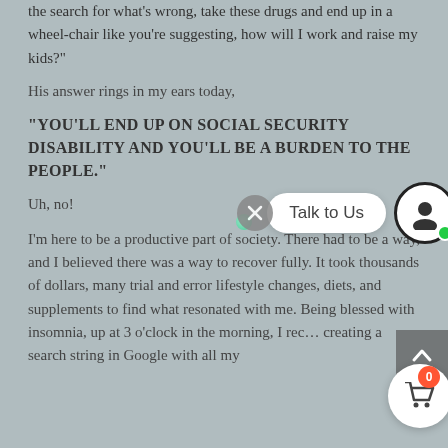the search for what's wrong, take these drugs and end up in a wheel-chair like you're suggesting, how will I work and raise my kids?"
His answer rings in my ears today,
"YOU'LL END UP ON SOCIAL SECURITY DISABILITY AND YOU'LL BE A BURDEN TO THE PEOPLE."
Uh, no!
I'm here to be a productive part of society. There had to be a way, and I believed there was a way to recover fully. It took thousands of dollars, many trial and error lifestyle changes, diets, and supplements to find what resonated with me. Being blessed with insomnia, up at 3 o'clock in the morning, I rec… creating a search string in Google with all my